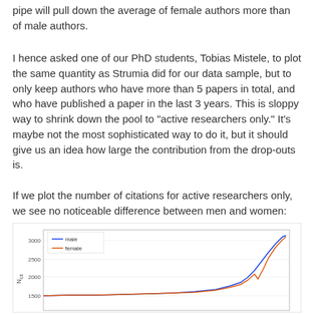pipe will pull down the average of female authors more than of male authors.
I hence asked one of our PhD students, Tobias Mistele, to plot the same quantity as Strumia did for our data sample, but to only keep authors who have more than 5 papers in total, and who have published a paper in the last 3 years. This is sloppy way to shrink down the pool to “active researchers only.” It’s maybe not the most sophisticated way to do it, but it should give us an idea how large the contribution from the drop-outs is.
If we plot the number of citations for active researchers only, we see no noticeable difference between men and women:
[Figure (continuous-plot): Line chart showing N_cit vs rank for male (blue) and female (orange) active researchers. Both lines rise steeply at the right end, reaching approximately 2800 for male and slightly lower for female. Y-axis labeled N_cit with values 1500, 2000, 2500, 3000. Legend shows male (blue) and female (orange).]